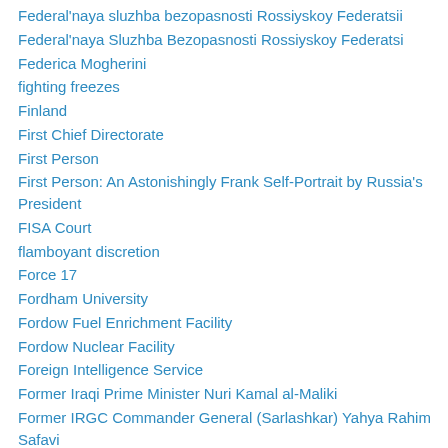Federal'naya sluzhba bezopasnosti Rossiyskoy Federatsii
Federal'naya Sluzhba Bezopasnosti Rossiyskoy Federatsi
Federica Mogherini
fighting freezes
Finland
First Chief Directorate
First Person
First Person: An Astonishingly Frank Self-Portrait by Russia's President
FISA Court
flamboyant discretion
Force 17
Fordham University
Fordow Fuel Enrichment Facility
Fordow Nuclear Facility
Foreign Intelligence Service
Former Iraqi Prime Minister Nuri Kamal al-Maliki
Former IRGC Commander General (Sarlashkar) Yahya Rahim Safavi
Former IRGC Commander General Yahya Rahim Safavi
Forward Defense
Forward Defense Strategy